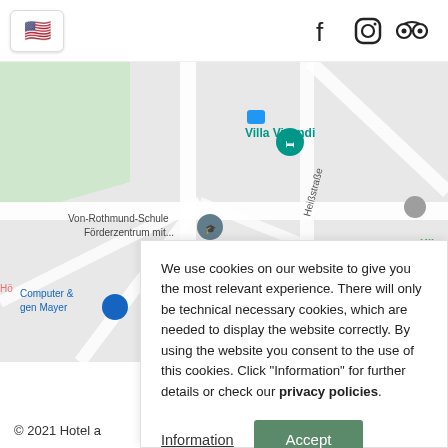[Figure (other): Flag button showing US flag emoji and social media icons (Facebook, Instagram, TripAdvisor) at the top of the page]
[Figure (map): Google Maps screenshot showing area around Villa Vivendi hotel including Von-Rothmund-Schule Förderzentrum mit..., Heißstraße, Kindergarten der Lebenshilfe, Hotel Am Wald, Computer & Jagen Mayer locations]
We use cookies on our website to give you the most relevant experience. There will only be technical necessary cookies, which are needed to display the website correctly. By using the website you consent to the use of this cookies. Click "Information" for further details or check our privacy policies.
Information
Accept
© 2021 Hotel a